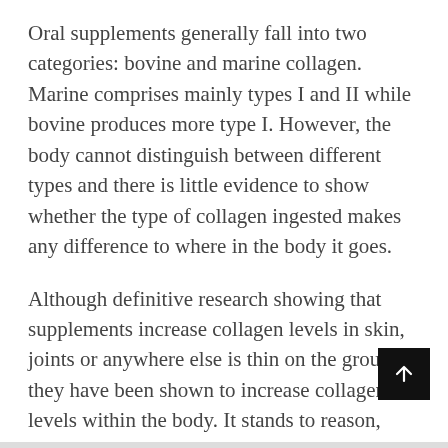Oral supplements generally fall into two categories: bovine and marine collagen. Marine comprises mainly types I and II while bovine produces more type I. However, the body cannot distinguish between different types and there is little evidence to show whether the type of collagen ingested makes any difference to where in the body it goes.
Although definitive research showing that supplements increase collagen levels in skin, joints or anywhere else is thin on the ground, they have been shown to increase collagen levels within the body. It stands to reason, then, that they should have a beneficial effect. Some studies have shown promising results for the effects of collagen on skin aging and other issues